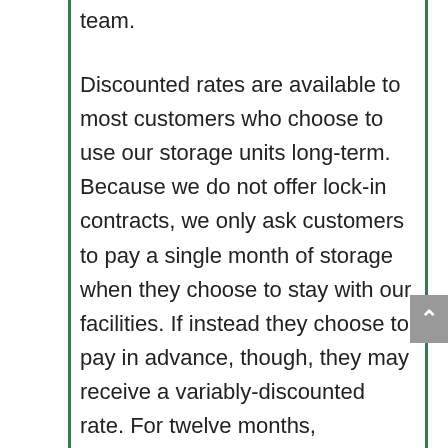team.
Discounted rates are available to most customers who choose to use our storage units long-term. Because we do not offer lock-in contracts, we only ask customers to pay a single month of storage when they choose to stay with our facilities. If instead they choose to pay in advance, though, they may receive a variably-discounted rate. For twelve months, customers receive a 10% discount, for six months, a 5% discount, and for three months, a 2.5% discount. Regardless of how much a customer